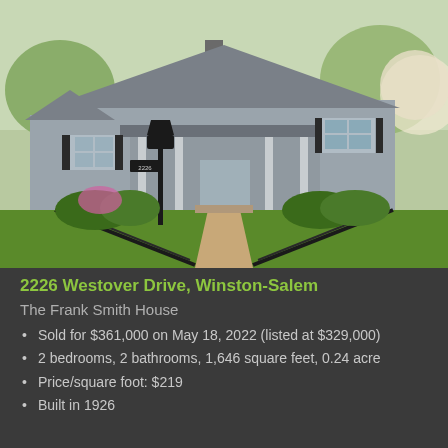[Figure (photo): Exterior photo of a gray bungalow-style house at 2226 Westover Drive, Winston-Salem. The house has a covered front porch, black shutters, and a concrete walkway flanked by black metal railings leading to the front steps. A decorative black lamp post stands to the left. The yard features green grass, flowering azalea bushes, and blooming dogwood trees in the background.]
2226 Westover Drive, Winston-Salem
The Frank Smith House
Sold for $361,000 on May 18, 2022 (listed at $329,000)
2 bedrooms, 2 bathrooms, 1,646 square feet, 0.24 acre
Price/square foot: $219
Built in 1926